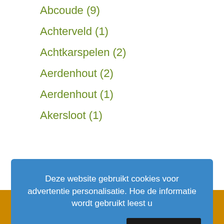Abcoude (9)
Achterveld (1)
Achtkarspelen (2)
Aerdenhout (2)
Aerdenhout (1)
Akersloot (1)
[Figure (screenshot): Cookie consent banner with blue background. Text: 'Deze website gebruikt cookies voor advertentie personalisatie. Hoe de informatie wordt gebruikt leest u' with a link 'Google Privacy & Terms >>' and a button 'Ok, ik snap het.']
(1)
Alkemade (1)
Alkmaar (98)
Alkmaar (43)
Almelo (9)
Bel voor info ->